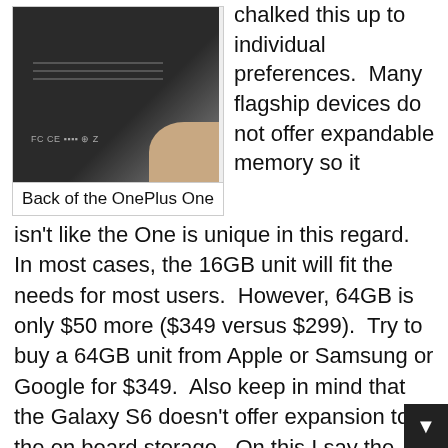[Figure (photo): Close-up photo of the back of a OnePlus One smartphone being held in a hand, showing the dark matte back cover with FCC/CE regulatory markings.]
Back of the OnePlus One
chalked this up to individual preferences.  Many flagship devices do not offer expandable memory so it isn't like the One is unique in this regard.  In most cases, the 16GB unit will fit the needs for most users.  However, 64GB is only $50 more ($349 versus $299).  Try to buy a 64GB unit from Apple or Samsung or Google for $349.  Also keep in mind that the Galaxy S6 doesn't offer expansion to the on board storage.  On this I say the same thing I said on my review of the BLU VIVO IV which is also non-expandable:  For me, it works.  It may not for you so consider your options but don't let this be the only deciding factor.